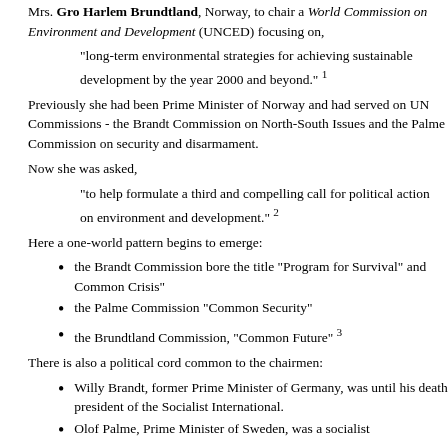Mrs. Gro Harlem Brundtland, Norway, to chair a World Commission on Environment and Development (UNCED) focusing on,
"long-term environmental strategies for achieving sustainable development by the year 2000 and beyond." 1
Previously she had been Prime Minister of Norway and had served on UN Commissions - the Brandt Commission on North-South Issues and the Palme Commission on security and disarmament.
Now she was asked,
"to help formulate a third and compelling call for political action on environment and development." 2
Here a one-world pattern begins to emerge:
the Brandt Commission bore the title "Program for Survival" and Common Crisis"
the Palme Commission "Common Security"
the Brundtland Commission, "Common Future" 3
There is also a political cord common to the chairmen:
Willy Brandt, former Prime Minister of Germany, was until his death president of the Socialist International.
Olof Palme, Prime Minister of Sweden, was a socialist